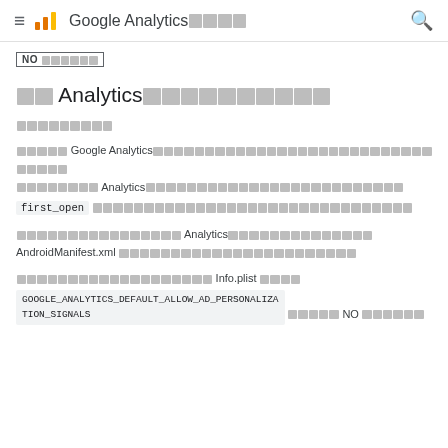Google Analytics ヘルプ
NO [CJK characters]
広告 Analytics パーソナライズを無効にする
このページの内容
アプリに Google Analytics を組み込む前に [link text] Analytics [CJK] first_open [CJK text]
[CJK] Analytics [CJK] AndroidManifest.xml [CJK text]
[CJK] Info.plist [CJK] GOOGLE_ANALYTICS_DEFAULT_ALLOW_AD_PERSONALIZATION_SIGNALS [CJK] NO [CJK]